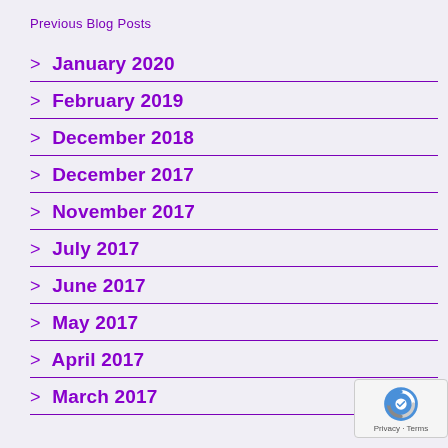Previous Blog Posts
> January 2020
> February 2019
> December 2018
> December 2017
> November 2017
> July 2017
> June 2017
> May 2017
> April 2017
> March 2017